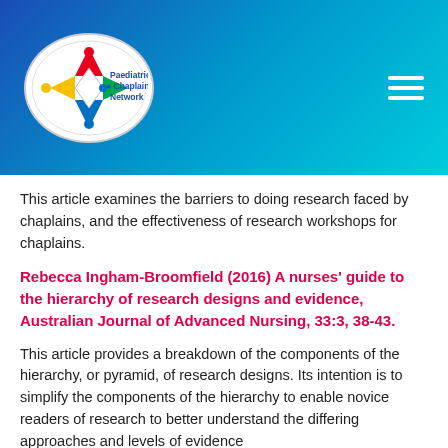[Figure (logo): Paediatric Chaplaincy Network logo with colorful diamond/person figures inside an oval, with navigation hamburger menu on right, all on a blue gradient banner header]
This article examines the barriers to doing research faced by chaplains, and the effectiveness of research workshops for chaplains.
Rebecca Ingham-Broomfield (2016) A nurses' guide to the hierarchy of research designs and evidence, Australian Journal of Advanced Nursing, 33:3, 38-43.
This article provides a breakdown of the components of the hierarchy, or pyramid, of research designs. Its intention is to simplify the components of the hierarchy to enable novice readers of research to better understand the differing approaches and levels of evidence